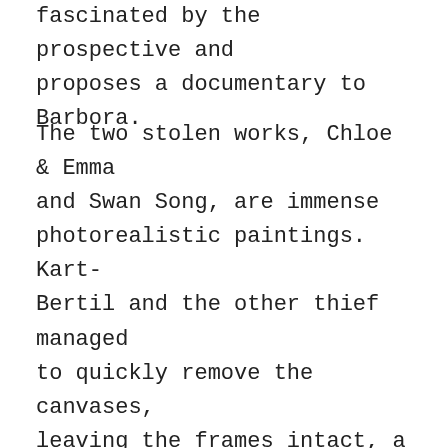fascinated by the prospective and proposes a documentary to Barbora.
The two stolen works, Chloe & Emma and Swan Song, are immense photorealistic paintings. Kart-Bertil and the other thief managed to quickly remove the canvases, leaving the frames intact, a work of experts. A friend of Benjamin was at the opening of the exhibition and took a footage (where we can see these original works before the theft), which he